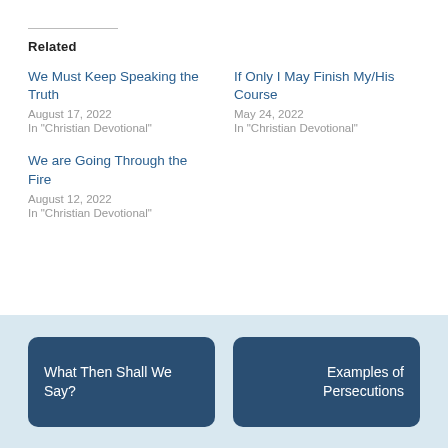Related
We Must Keep Speaking the Truth
August 17, 2022
In "Christian Devotional"
If Only I May Finish My/His Course
May 24, 2022
In "Christian Devotional"
We are Going Through the Fire
August 12, 2022
In "Christian Devotional"
What Then Shall We Say?   Examples of Persecutions